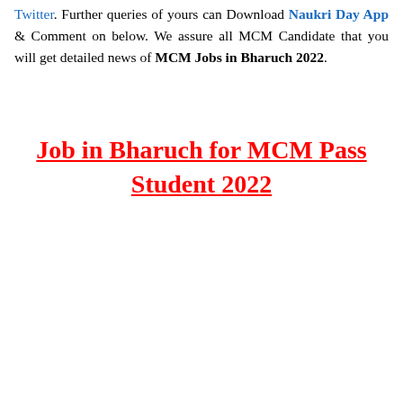Twitter. Further queries of yours can Download Naukri Day App & Comment on below. We assure all MCM Candidate that you will get detailed news of MCM Jobs in Bharuch 2022.
Job in Bharuch for MCM Pass Student 2022